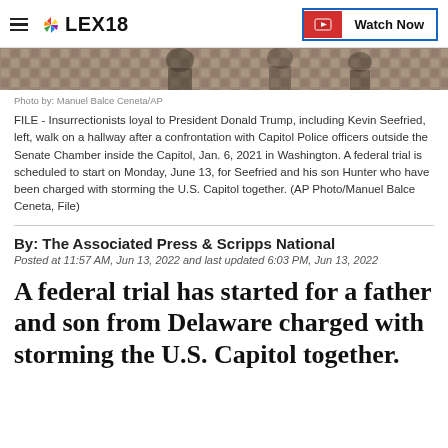LEX18 — Watch Now
[Figure (photo): Cropped photo of insurrectionists walking in a Capitol hallway, showing decorative floor tiles and partial figures]
Photo by: Manuel Balce Ceneta/AP
FILE - Insurrectionists loyal to President Donald Trump, including Kevin Seefried, left, walk on a hallway after a confrontation with Capitol Police officers outside the Senate Chamber inside the Capitol, Jan. 6, 2021 in Washington. A federal trial is scheduled to start on Monday, June 13, for Seefried and his son Hunter who have been charged with storming the U.S. Capitol together. (AP Photo/Manuel Balce Ceneta, File)
By: The Associated Press & Scripps National
Posted at 11:57 AM, Jun 13, 2022 and last updated 6:03 PM, Jun 13, 2022
A federal trial has started for a father and son from Delaware charged with storming the U.S. Capitol together.